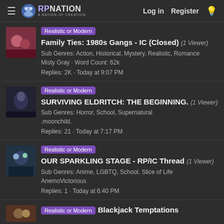RPNation | Log in | Register
Realistic or Modern | Family Ties: 1980s Gangs - IC (Closed) (1 Viewer) | Sub Genres: Action, Historical, Mystery, Realistic, Romance | Misty Gray · Word Count: 62k | Replies: 2K · Today at 9:07 PM
Realistic or Modern | SURVIVING ELDRITCH: THE BEGINNING. (1 Viewer) | Sub Genres: Horror, School, Supernatural | .moonchild. | Replies: 21 · Today at 7:17 PM
Realistic or Modern | OUR SPARKLING STAGE - RP/IC Thread (1 Viewer) | Sub Genres: Anime, LGBTQ, School, Slice of Life | AnemoVictorious | Replies: 1 · Today at 6:40 PM
Realistic or Modern | Blackjack Temptations (partial)